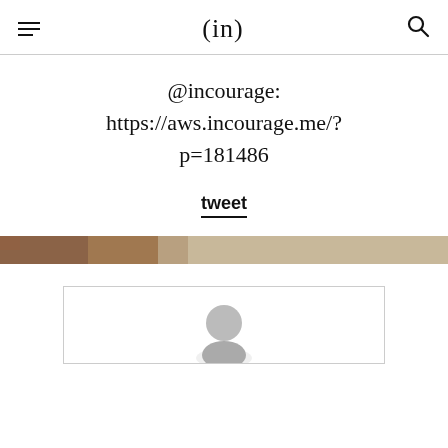(in)
@incourage: https://aws.incourage.me/?p=181486
tweet
[Figure (photo): Horizontal image strip showing warm brown and beige tones, possibly a wooden surface or natural texture]
[Figure (photo): Portrait photo of a person in a bordered box, partially visible at the bottom of the page]